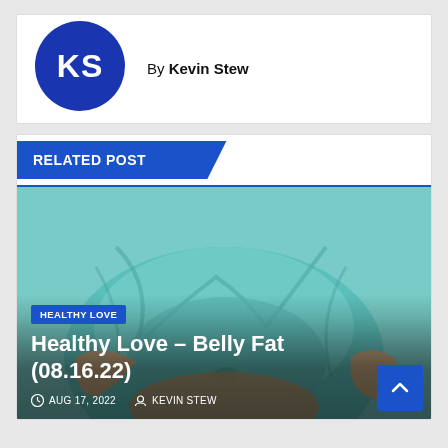[Figure (logo): KS logo — dark blue circle with white KS letters]
By Kevin Stew
RELATED POST
[Figure (photo): Person in teal shirt holding their belly fat, close-up torso shot]
HEALTHY LOVE
Healthy Love – Belly Fat (08.16.22)
AUG 17, 2022   KEVIN STEW